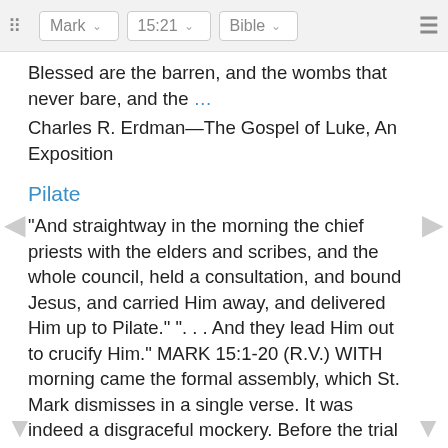Mark  15:21  Bible
Blessed are the barren, and the wombs that never bare, and the …
Charles R. Erdman—The Gospel of Luke, An Exposition
Pilate
"And straightway in the morning the chief priests with the elders and scribes, and the whole council, held a consultation, and bound Jesus, and carried Him away, and delivered Him up to Pilate." ". . . And they lead Him out to crucify Him." MARK 15:1-20 (R.V.) WITH morning came the formal assembly, which St. Mark dismisses in a single verse. It was indeed a disgraceful mockery. Before the trial began its members had prejudged the case, passed sentence by anticipation, and abandoned Jesus, as one …
G. A. Chadwick—The Gospel of St. Mark